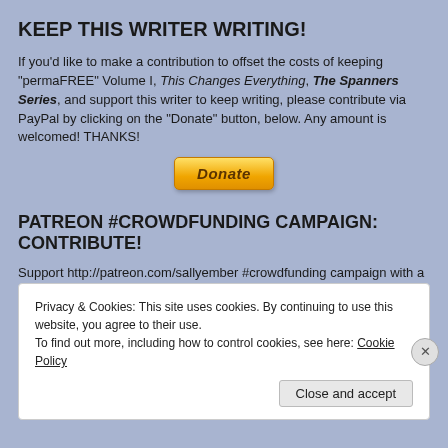KEEP THIS WRITER WRITING!
If you'd like to make a contribution to offset the costs of keeping "permaFREE" Volume I, This Changes Everything, The Spanners Series, and support this writer to keep writing, please contribute via PayPal by clicking on the "Donate" button, below. Any amount is welcomed! THANKS!
[Figure (other): PayPal Donate button - orange/yellow rounded rectangle button with italic bold text 'Donate']
PATREON #CROWDFUNDING CAMPAIGN: CONTRIBUTE!
Support http://patreon.com/sallyember #crowdfunding campaign with a donation as low as $4 and get rewarded (free ebooks, discounts on editing/ proofreading)! Donations toward meeting specific goals, general support all welcomed, any amount. Thanks!
Privacy & Cookies: This site uses cookies. By continuing to use this website, you agree to their use.
To find out more, including how to control cookies, see here: Cookie Policy
Close and accept